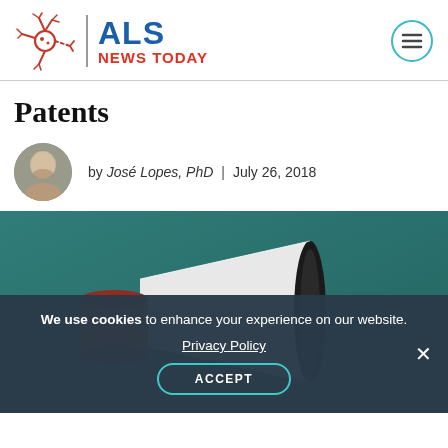[Figure (logo): ALS News Today logo with neuron icon, blue ALS text and red NEWS TODAY text]
Patents
by José Lopes, PhD | July 26, 2018
[Figure (photo): A red and white megaphone on a teal/dark green background]
We use cookies to enhance your experience on our website. Privacy Policy ACCEPT